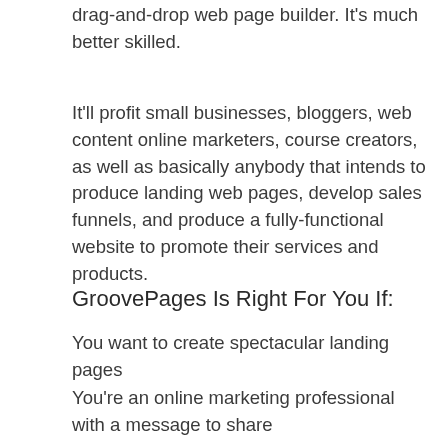drag-and-drop web page builder. It's much better skilled.
It'll profit small businesses, bloggers, web content online marketers, course creators, as well as basically anybody that intends to produce landing web pages, develop sales funnels, and produce a fully-functional website to promote their services and products.
GroovePages Is Right For You If:
You want to create spectacular landing pages
You're an online marketing professional with a message to share